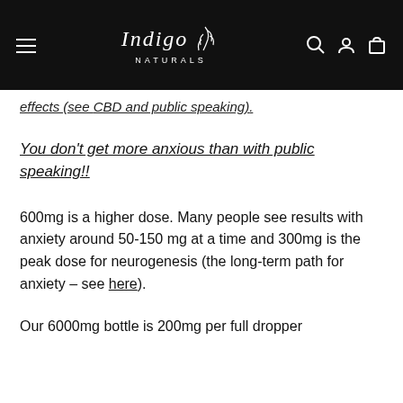Indigo Naturals
effects (see CBD and public speaking).
You don't get more anxious than with public speaking!!
600mg is a higher dose. Many people see results with anxiety around 50-150 mg at a time and 300mg is the peak dose for neurogenesis (the long-term path for anxiety - see here).
Our 6000mg bottle is 200mg per full dropper